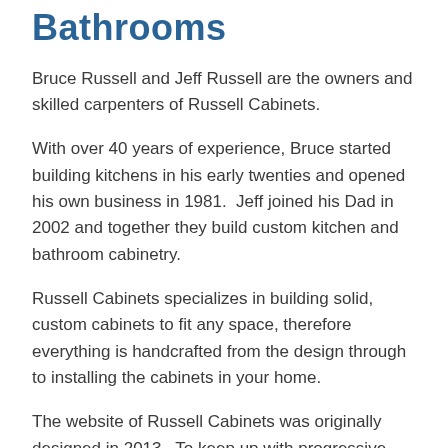Bathrooms
Bruce Russell and Jeff Russell are the owners and skilled carpenters of Russell Cabinets.
With over 40 years of experience, Bruce started building kitchens in his early twenties and opened his own business in 1981.  Jeff joined his Dad in 2002 and together they build custom kitchen and bathroom cabinetry.
Russell Cabinets specializes in building solid, custom cabinets to fit any space, therefore everything is handcrafted from the design through to installing the cabinets in your home.
The website of Russell Cabinets was originally designed in 2013.  To keep up with progressive technology, the website was redesigned in 2019 with the Avada premium theme.  Jeff wanted the new website to be simple, clean and display many different